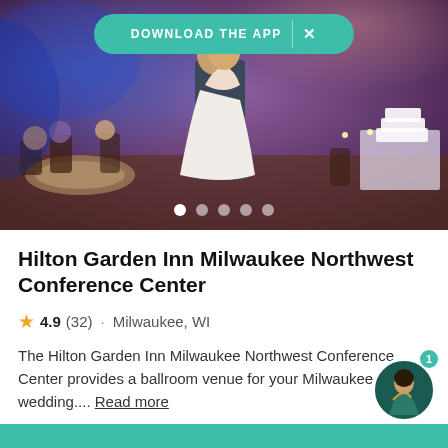[Figure (photo): Wedding reception photo showing a couple dancing on the dance floor with guests seated at round tables, blue uplighting, and a wedding cake visible in the background. A 'DOWNLOAD THE APP' teal banner with X close button overlays the top of the photo. Five navigation dots appear at the bottom of the photo.]
Hilton Garden Inn Milwaukee Northwest Conference Center
4.9 (32) · Milwaukee, WI
The Hilton Garden Inn Milwaukee Northwest Conference Center provides a ballroom venue for your Milwaukee area wedding.... Read more
$7k - $8k   300